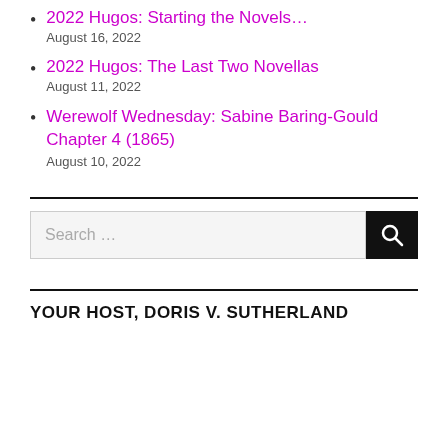2022 Hugos: Starting the Novels…
August 16, 2022
2022 Hugos: The Last Two Novellas
August 11, 2022
Werewolf Wednesday: Sabine Baring-Gould Chapter 4 (1865)
August 10, 2022
Search …
YOUR HOST, DORIS V. SUTHERLAND